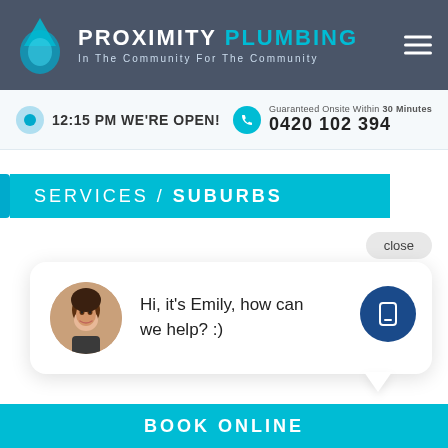[Figure (logo): Proximity Plumbing logo with water drop icon, header with dark gray background. Brand name and tagline.]
12:15 PM WE'RE OPEN!
Guaranteed Onsite Within 30 Minutes
0420 102 394
SERVICES / SUBURBS
close
Hi, it's Emily, how can we help? :)
BOOK ONLINE